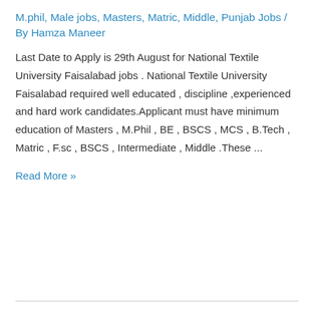M.phil, Male jobs, Masters, Matric, Middle, Punjab Jobs / By Hamza Maneer
Last Date to Apply is 29th August for National Textile University Faisalabad jobs . National Textile University Faisalabad required well educated , discipline ,experienced and hard work candidates.Applicant must have minimum education of Masters , M.Phil , BE , BSCS , MCS , B.Tech , Matric , F.sc , BSCS , Intermediate , Middle .These ...
Read More »